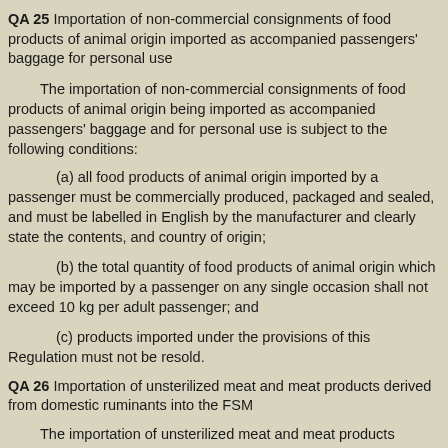QA 25 Importation of non-commercial consignments of food products of animal origin imported as accompanied passengers' baggage for personal use
The importation of non-commercial consignments of food products of animal origin being imported as accompanied passengers' baggage and for personal use is subject to the following conditions:
(a) all food products of animal origin imported by a passenger must be commercially produced, packaged and sealed, and must be labelled in English by the manufacturer and clearly state the contents, and country of origin;
(b) the total quantity of food products of animal origin which may be imported by a passenger on any single occasion shall not exceed 10 kg per adult passenger; and
(c) products imported under the provisions of this Regulation must not be resold.
QA 26 Importation of unsterilized meat and meat products derived from domestic ruminants into the FSM
The importation of unsterilized meat and meat products